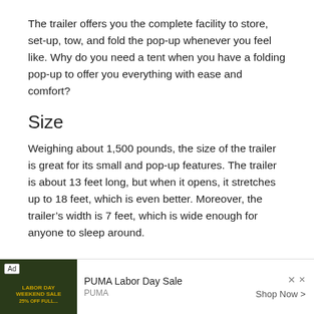The trailer offers you the complete facility to store, set-up, tow, and fold the pop-up whenever you feel like. Why do you need a tent when you have a folding pop-up to offer you everything with ease and comfort?
Size
Weighing about 1,500 pounds, the size of the trailer is great for its small and pop-up features. The trailer is about 13 feet long, but when it opens, it stretches up to 18 feet, which is even better. Moreover, the trailer’s width is 7 feet, which is wide enough for anyone to sleep around.
[Figure (other): Advertisement banner for PUMA Labor Day Sale with a dark background image showing PUMA branding, an Ad badge, PUMA logo, 'Shop Now' button, and close/skip icons.]